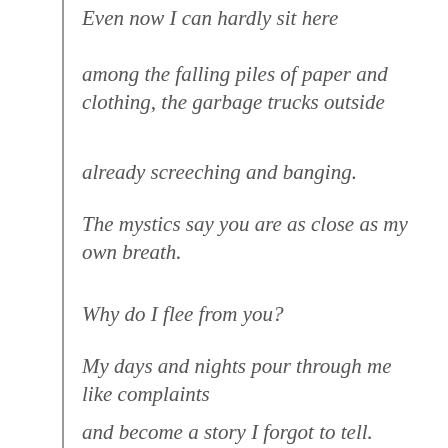Even now I can hardly sit here
among the falling piles of paper and clothing, the garbage trucks outside
already screeching and banging.
The mystics say you are as close as my own breath.
Why do I flee from you?
My days and nights pour through me like complaints
and become a story I forgot to tell.